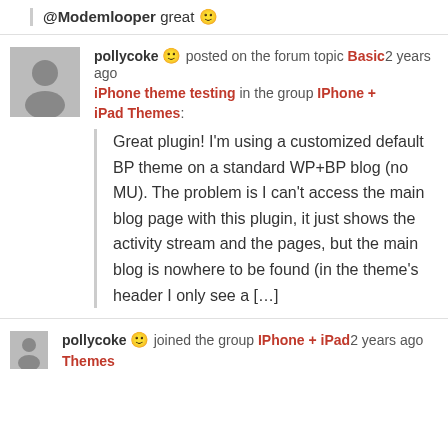@Modemlooper great 🙂
pollycoke 🙂 posted on the forum topic Basic 2 years ago iPhone theme testing in the group IPhone + iPad Themes:
Great plugin! I'm using a customized default BP theme on a standard WP+BP blog (no MU). The problem is I can't access the main blog page with this plugin, it just shows the activity stream and the pages, but the main blog is nowhere to be found (in the theme's header I only see a […]
pollycoke 🙂 joined the group IPhone + iPad 2 years ago Themes